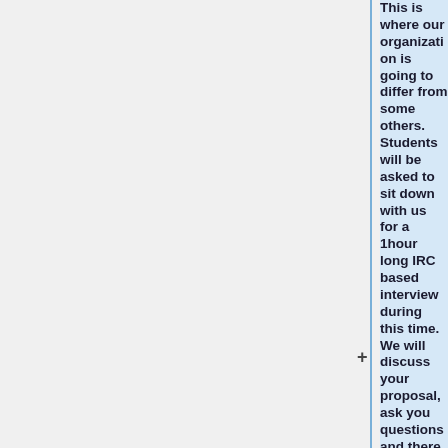This is where our organization is going to differ from some others. Students will be asked to sit down with us for a 1hour long IRC based interview during this time. We will discuss your proposal, ask you questions and there will be a coding exercise or two. Students shouldn't feel the need to